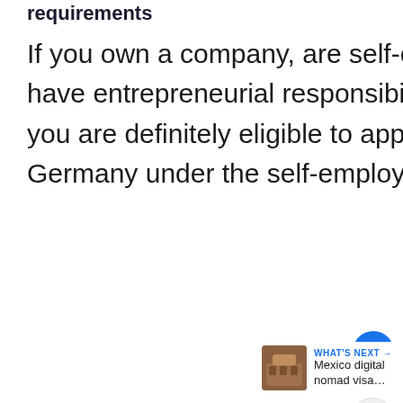requirements
If you own a company, are self-employed, a sole-proprietor, or have entrepreneurial responsibility for the company you work for, you are definitely eligible to apply for a residence permit in Germany under the self-employed occupation category.